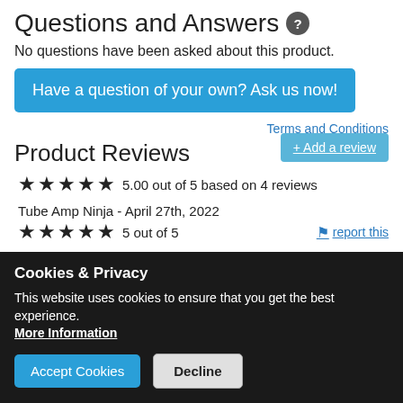Questions and Answers
No questions have been asked about this product.
Have a question of your own? Ask us now!
Terms and Conditions
Product Reviews
5.00 out of 5 based on 4 reviews
Tube Amp Ninja - April 27th, 2022
5 out of 5
report this
I've used Alpha pots for decades and they've never failed to perform. Smooth, consistent and reliable, they fit the bill at low cost, and are even used by
Cookies & Privacy
This website uses cookies to ensure that you get the best experience. More Information
Accept Cookies
Decline